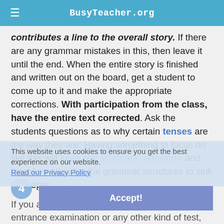BusyTeacher.org
contributes a line to the overall story. If there are any grammar mistakes in this, then leave it until the end. When the entire story is finished and written out on the board, get a student to come up to it and make the appropriate corrections. With participation from the class, have the entire text corrected. Ask the students questions as to why certain tenses are the way they are. Having something to focus on like this will keep the students' attention and therefore allow for the grammar structures to sink in deeper.
This website uses cookies to ensure you get the best experience on our website. Read our Privacy Policy
4 Start Simple
If you are preparing students for a college entrance examination or any other kind of test, then simply